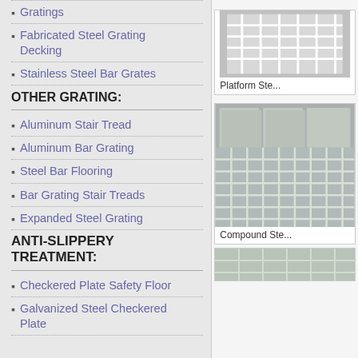Gratings
Fabricated Steel Grating Decking
Stainless Steel Bar Grates
OTHER GRATING:
Aluminum Stair Tread
Aluminum Bar Grating
Steel Bar Flooring
Bar Grating Stair Treads
Expanded Steel Grating
ANTI-SLIPPERY TREATMENT:
Checkered Plate Safety Floor
Galvanized Steel Checkered Plate
[Figure (photo): Photo of white platform steel grating panels stacked or arranged]
Platform Ste...
[Figure (photo): Photo of compound steel bar grating panels stacked in a warehouse]
Compound Ste...